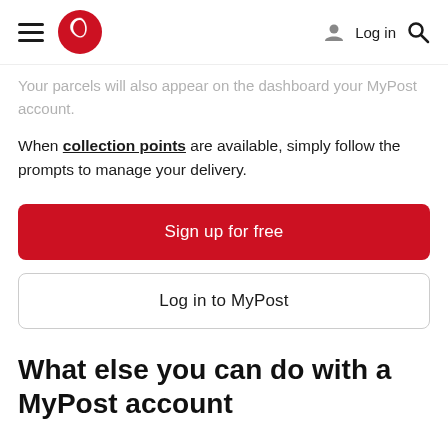Australia Post navigation header with hamburger menu, logo, Log in, and search icon
Your parcels will also appear on the dashboard your MyPost account.
When collection points are available, simply follow the prompts to manage your delivery.
Sign up for free
Log in to MyPost
What else you can do with a MyPost account